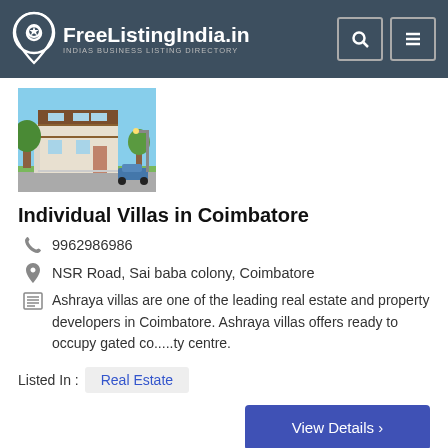FreeListingIndia.in — INDIAS BUSINESS LISTING DIRECTORY
[Figure (photo): Exterior rendering of a modern individual villa/house in Coimbatore with contemporary architecture and landscaping]
Individual Villas in Coimbatore
9962986986
NSR Road, Sai baba colony, Coimbatore
Ashraya villas are one of the leading real estate and property developers in Coimbatore. Ashraya villas offers ready to occupy gated co.....ty centre.
Listed In : Real Estate
View Details ›